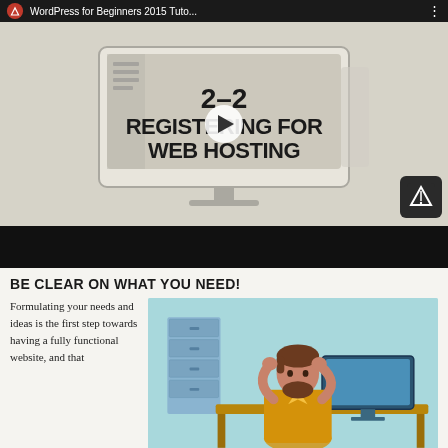[Figure (screenshot): YouTube video thumbnail showing '2-2 REGISTERING FOR WEB HOSTING' with a monitor graphic, play button, WI logo, and top bar reading 'WordPress for Beginners 2015 Tuto...']
BE CLEAR ON WHAT YOU NEED!
Formulating your needs and ideas is the first step towards having a fully functional website, and that
[Figure (illustration): Illustration of a bearded man sitting at a desk with a computer monitor, looking stressed, with filing cabinets in the background, on a light blue background.]